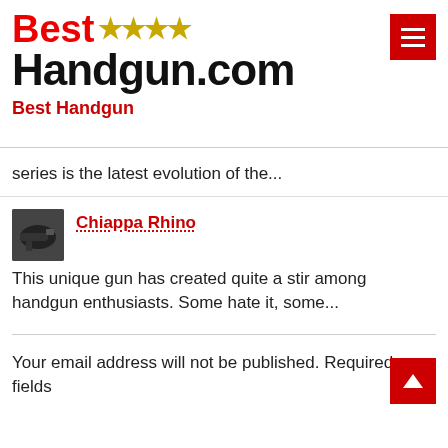Best Handgun.com — Best Handgun
series is the latest evolution of the...
Chiappa Rhino
This unique gun has created quite a stir among handgun enthusiasts. Some hate it, some...
Your email address will not be published. Required fields